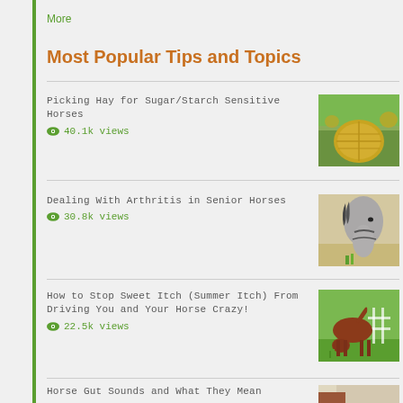More
Most Popular Tips and Topics
Picking Hay for Sugar/Starch Sensitive Horses
40.1k views
Dealing With Arthritis in Senior Horses
30.8k views
How to Stop Sweet Itch (Summer Itch) From Driving You and Your Horse Crazy!
22.5k views
Horse Gut Sounds and What They Mean
19k views